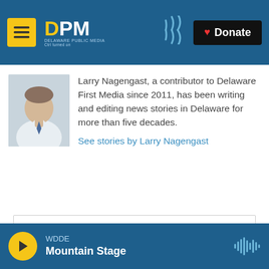DPM Delaware Public Media — Donate
[Figure (photo): Headshot photograph of Larry Nagengast, a man in a white shirt and blue tie]
Larry Nagengast, a contributor to Delaware First Media since 2011, has been writing and editing news stories in Delaware for more than five decades.
See stories by Larry Nagengast
WDDE Mountain Stage